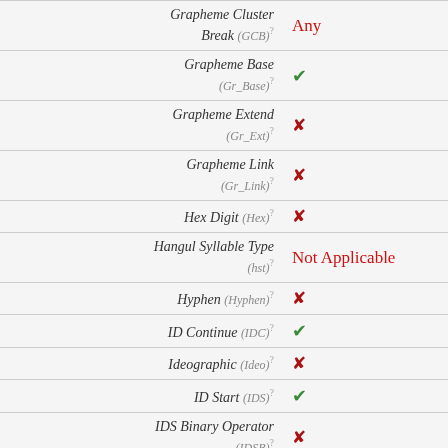| Property | Value |
| --- | --- |
| Grapheme Cluster Break (GCB) | Any |
| Grapheme Base (Gr_Base) | ✔ |
| Grapheme Extend (Gr_Ext) | ✘ |
| Grapheme Link (Gr_Link) | ✘ |
| Hex Digit (Hex) | ✘ |
| Hangul Syllable Type (hst) | Not Applicable |
| Hyphen (Hyphen) | ✘ |
| ID Continue (IDC) | ✔ |
| Ideographic (Ideo) | ✘ |
| ID Start (IDS) | ✔ |
| IDS Binary Operator (IDSB) | ✘ |